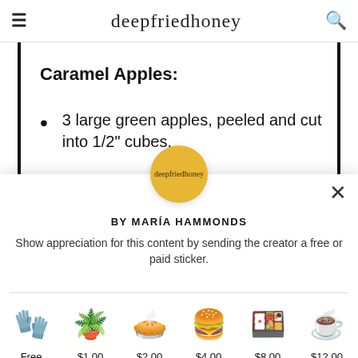deepfriedhoney
Caramel Apples:
3 large green apples, peeled and cut into 1/2" cubes.
[Figure (logo): deepfriedhoney circular logo on golden yellow background]
BY MARÍA HAMMONDS
Show appreciation for this content by sending the creator a free or paid sticker.
[Figure (infographic): Six sticker options in a row: oven mitts (Free), plant ($1.00), pie ($2.00), burger ($4.00), sushi board ($8.00), hot cocoa mug ($12.00)]